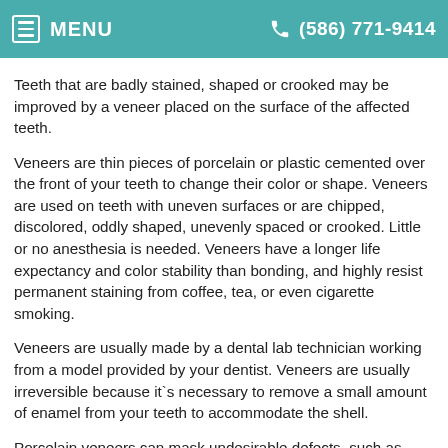MENU   (586) 771-9414
Teeth that are badly stained, shaped or crooked may be improved by a veneer placed on the surface of the affected teeth.
Veneers are thin pieces of porcelain or plastic cemented over the front of your teeth to change their color or shape. Veneers are used on teeth with uneven surfaces or are chipped, discolored, oddly shaped, unevenly spaced or crooked. Little or no anesthesia is needed. Veneers have a longer life expectancy and color stability than bonding, and highly resist permanent staining from coffee, tea, or even cigarette smoking.
Veneers are usually made by a dental lab technician working from a model provided by your dentist. Veneers are usually irreversible because it`s necessary to remove a small amount of enamel from your teeth to accommodate the shell.
Porcelain veneers can mask undesirable defects, such as teeth stained by tetracycline, by an injury, or as a result of a root-canal procedure, and are ideal for masking discolored fillings in front teeth. Patients with gaps between their front teeth or teeth that are chipped or worn may consider veneers.